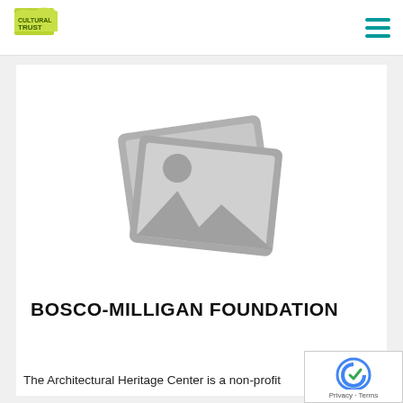Cultural Trust (logo) | Navigation menu
[Figure (illustration): Gray placeholder image icon showing two overlapping photo frames with a mountain/landscape and sun symbol, indicating no image is available]
BOSCO-MILLIGAN FOUNDATION
The Architectural Heritage Center is a non-profit